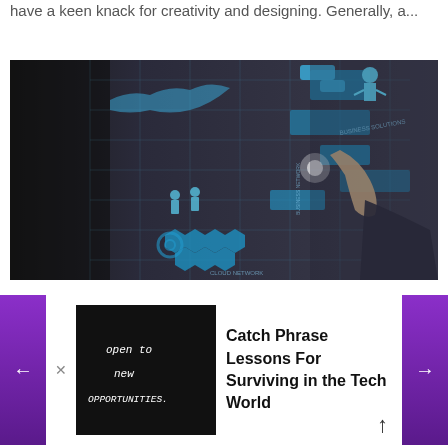have a keen knack for creativity and designing. Generally, a...
[Figure (photo): Person in suit touching a glowing digital interface screen with business network icons, hexagons, maps, and data visualizations. Text on screen includes 'Business Solutions' and 'Cloud Network'.]
[Figure (photo): Chalkboard with handwritten text 'open to new OPPORTUNITIES']
Catch Phrase Lessons For Surviving in the Tech World